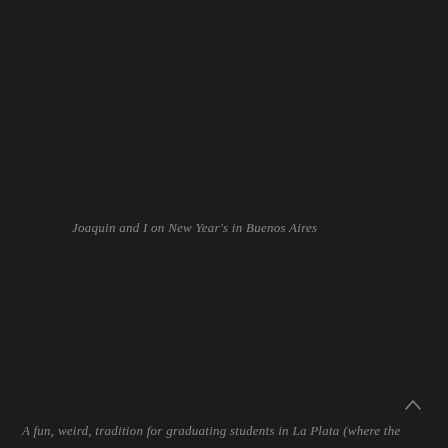[Figure (photo): A dark, nearly black photograph - appears to be a night scene in Buenos Aires, with very low light. The image is mostly dark with subtle tonal variations suggesting an outdoor urban or crowd scene.]
Joaquin and I on New Year's in Buenos Aires
A fun, weird, tradition for graduating students in La Plata (where the